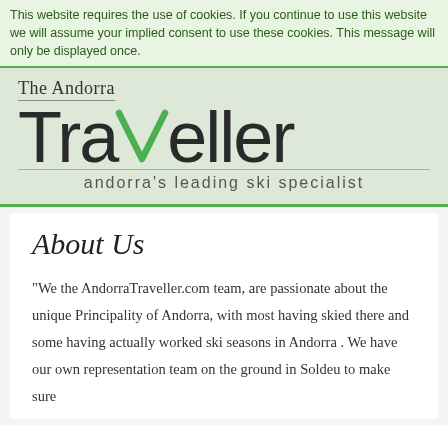This website requires the use of cookies. If you continue to use this website we will assume your implied consent to use these cookies. This message will only be displayed once.
[Figure (logo): The Andorra Traveller logo with a green triangle replacing the 'v' in Traveller, and tagline 'andorra’s leading ski specialist' on a light grey-green background]
About Us
“We the AndorraTraveller.com team, are passionate about the unique Principality of Andorra, with most having skied there and some having actually worked ski seasons in Andorra . We have our own representation team on the ground in Soldeu to make sure